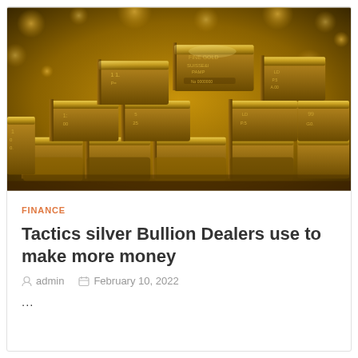[Figure (photo): Stack of gold bullion bars piled on a surface covered with gold coins/nuggets, warm golden lighting]
FINANCE
Tactics silver Bullion Dealers use to make more money
admin   February 10, 2022
...